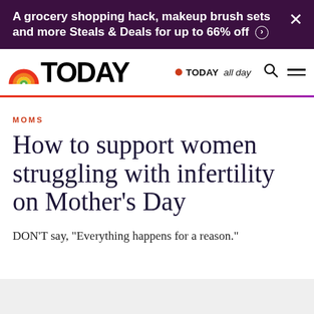A grocery shopping hack, makeup brush sets and more Steals & Deals for up to 66% off ›
[Figure (logo): TODAY show logo with rainbow arc icon and 'TODAY' wordmark, plus 'TODAY all day' label with red dot and search icon]
MOMS
How to support women struggling with infertility on Mother's Day
DON'T say, "Everything happens for a reason."